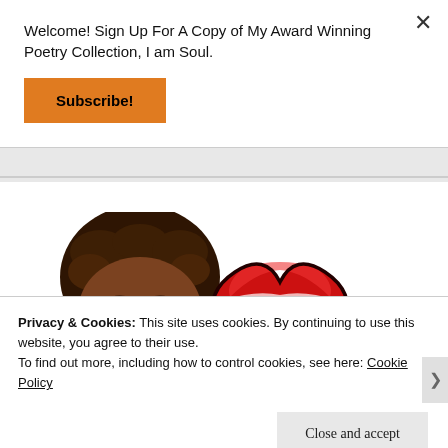Welcome! Sign Up For A Copy of My Award Winning Poetry Collection, I am Soul.
Subscribe!
[Figure (illustration): Bitmoji cartoon of a person with curly dark hair and glasses peeking over, with a red heart shape]
Privacy & Cookies: This site uses cookies. By continuing to use this website, you agree to their use.
To find out more, including how to control cookies, see here: Cookie Policy
Close and accept